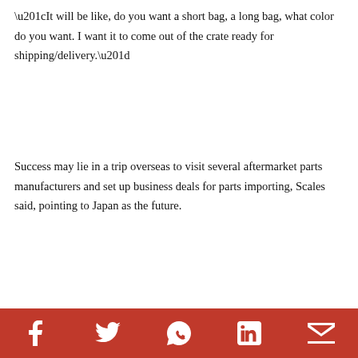“It will be like, do you want a short bag, a long bag, what color do you want. I want it to come out of the crate ready for shipping/delivery.”
Success may lie in a trip overseas to visit several aftermarket parts manufacturers and set up business deals for parts importing, Scales said, pointing to Japan as the future.
[Figure (photo): IronWorks magazine cover and contents page side by side. Cover shows KINGS OF THE HIGHWAY headline, 50 YEARS APART text, and a motorcycle/rider. Contents page shows table of contents with article listings.]
Social media share icons: Facebook, Twitter, WhatsApp, LinkedIn, Email